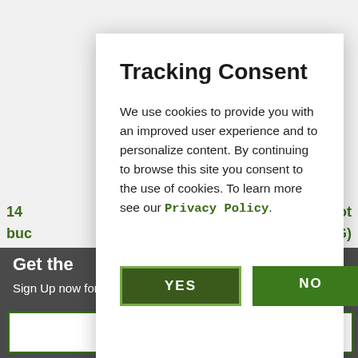Tracking Consent
We use cookies to provide you with an improved user experience and to personalize content. By continuing to browse this site you consent to the use of cookies. To learn more see our Privacy Policy.
YES
NO
Get the
Sign Up now for email offers and more news!
SUBSCRIBE